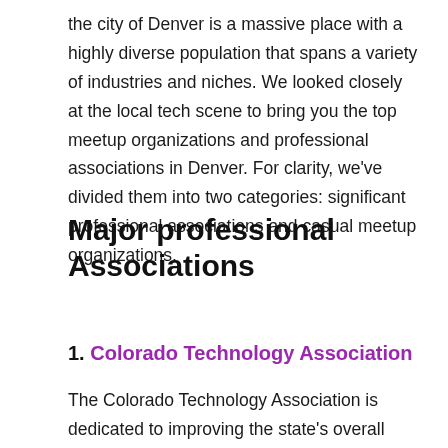the city of Denver is a massive place with a highly diverse population that spans a variety of industries and niches. We looked closely at the local tech scene to bring you the top meetup organizations and professional associations in Denver. For clarity, we've divided them into two categories: significant professional associations and casual meetup organizations.
Major professional Associations
1. Colorado Technology Association
The Colorado Technology Association is dedicated to improving the state's overall tech friendliness and has